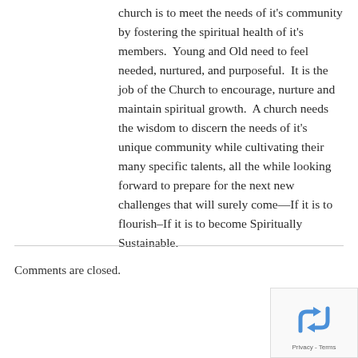church is to meet the needs of it's community by fostering the spiritual health of it's members.  Young and Old need to feel needed, nurtured, and purposeful.  It is the job of the Church to encourage, nurture and maintain spiritual growth.  A church needs the wisdom to discern the needs of it's unique community while cultivating their many specific talents, all the while looking forward to prepare for the next new challenges that will surely come—If it is to flourish–If it is to become Spiritually Sustainable.
Comments are closed.
[Figure (logo): reCAPTCHA badge with recycling-style arrow logo and Privacy - Terms text]